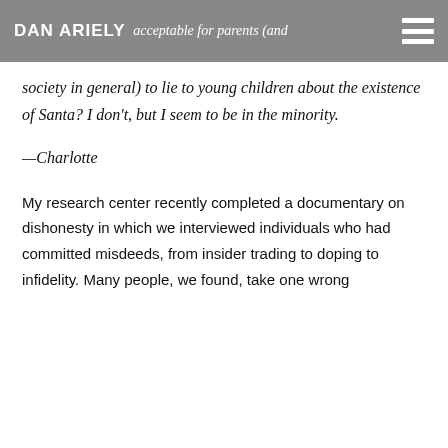DAN ARIELY — acceptable for parents (and
acceptable for parents (and society in general) to lie to young children about the existence of Santa? I don't, but I seem to be in the minority.
—Charlotte
My research center recently completed a documentary on dishonesty in which we interviewed individuals who had committed misdeeds, from insider trading to doping to infidelity. Many people, we found, take one wrong step then continue doing it they take one there and